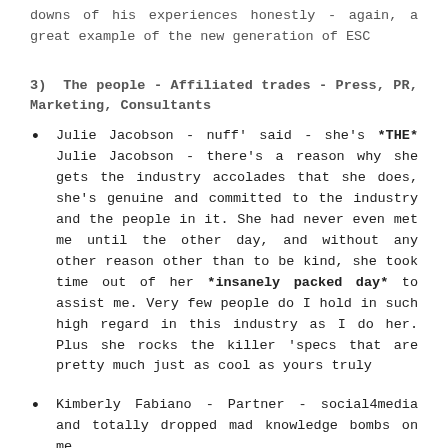downs of his experiences honestly - again, a great example of the new generation of ESC
3) The people - Affiliated trades - Press, PR, Marketing, Consultants
Julie Jacobson - nuff' said - she's *THE* Julie Jacobson - there's a reason why she gets the industry accolades that she does, she's genuine and committed to the industry and the people in it. She had never even met me until the other day, and without any other reason other than to be kind, she took time out of her *insanely packed day* to assist me. Very few people do I hold in such high regard in this industry as I do her. Plus she rocks the killer 'specs that are pretty much just as cool as yours truly
Kimberly Fabiano - Partner - social4media and totally dropped mad knowledge bombs on me